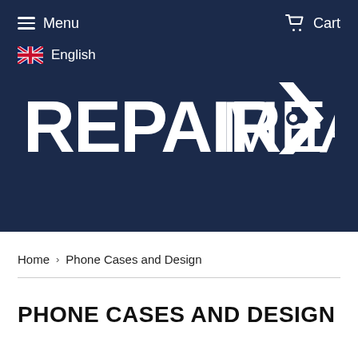Menu   Cart
[Figure (logo): RepairMedia logo with wrench/arrow icon replacing the D in MEDIA, white text on dark navy background]
English
Home › Phone Cases and Design
PHONE CASES AND DESIGN